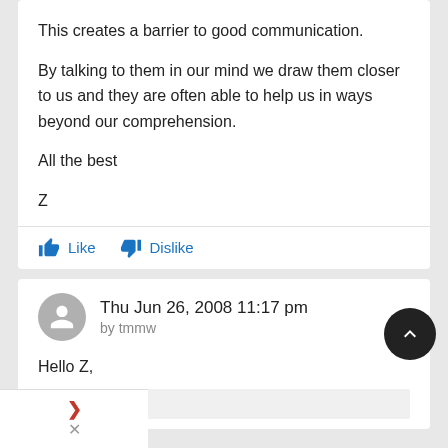This creates a barrier to good communication.
By talking to them in our mind we draw them closer to us and they are often able to help us in ways beyond our comprehension.
All the best
Z
Like   Dislike
Thu Jun 26, 2008 11:17 pm
by tmmw
Hello Z,